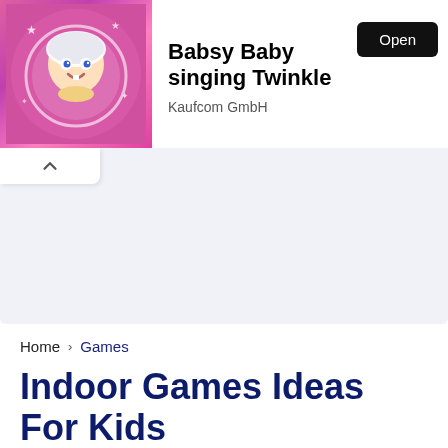[Figure (screenshot): App store advertisement banner for 'Babsy Baby singing Twinkle' by Kaufcom GmbH with cartoon baby image, app title, company name, and Open button]
Home › Games
Indoor Games Ideas For Kids
Brie   22 May, 2021
[Figure (other): Social sharing buttons: Facebook, Twitter, Pinterest, LinkedIn, Tumblr, WhatsApp, Telegram]